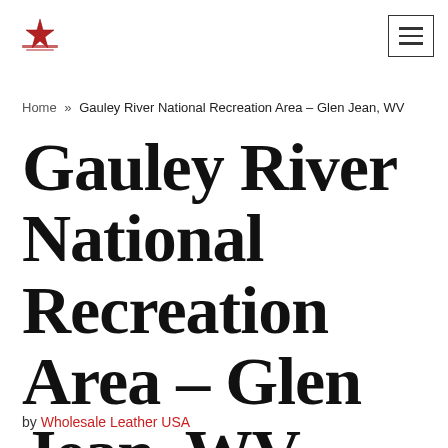Wholesale Leather USA logo and hamburger menu
Home » Gauley River National Recreation Area – Glen Jean, WV
Gauley River National Recreation Area – Glen Jean, WV
by Wholesale Leather USA